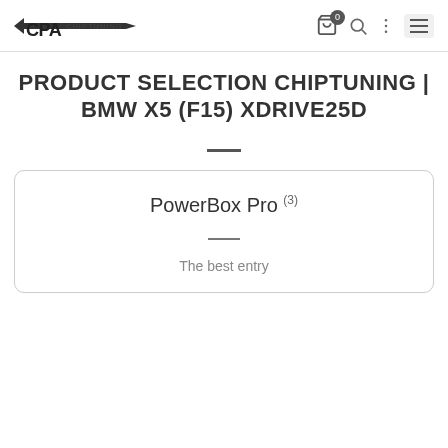CPA CHIPTUNING
PRODUCT SELECTION CHIPTUNING | BMW X5 (F15) XDRIVE25D
PowerBox Pro (3)
The best entry